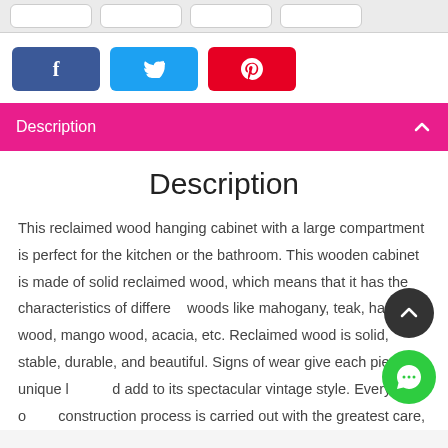[Figure (screenshot): Top bar with four rounded rectangle placeholder buttons on a light gray background]
[Figure (screenshot): Social share buttons: Facebook (dark blue), Twitter (light blue), Pinterest (red/pink)]
Description
Description
This reclaimed wood hanging cabinet with a large compartment is perfect for the kitchen or the bathroom. This wooden cabinet is made of solid reclaimed wood, which means that it has the characteristics of different woods like mahogany, teak, hard wood, mango wood, acacia, etc. Reclaimed wood is solid, stable, durable, and beautiful. Signs of wear give each piece a unique look and add to its spectacular vintage style. Every step of the construction process is carried out with the greatest care,